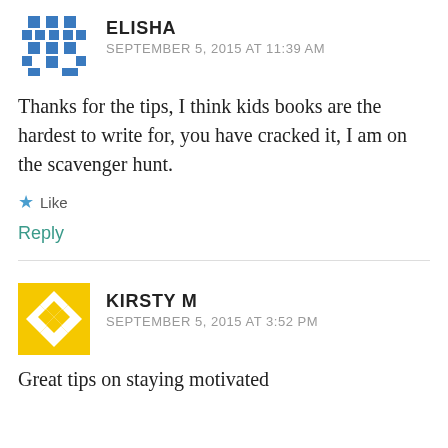[Figure (illustration): Blue pixel/mosaic avatar icon for user Elisha]
ELISHA
SEPTEMBER 5, 2015 AT 11:39 AM
Thanks for the tips, I think kids books are the hardest to write for, you have cracked it, I am on the scavenger hunt.
★ Like
Reply
[Figure (illustration): Yellow geometric/mosaic avatar icon for user Kirsty M]
KIRSTY M
SEPTEMBER 5, 2015 AT 3:52 PM
Great tips on staying motivated